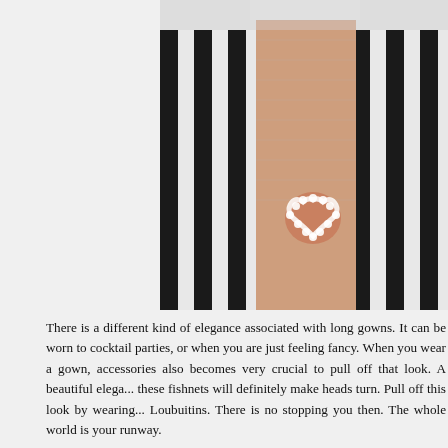[Figure (photo): Close-up photo of a person wearing a black and white vertical striped long skirt with a slit, revealing fishnet stockings with a floral heart-shaped accessory on the thigh. The person's hand is visible holding the skirt fabric.]
There is a different kind of elegance associated with long gowns. It can be worn to cocktail parties, or when you are just feeling fancy. When you wear a gown, accessories also becomes very crucial to pull off that look. A beautiful elega... these fishnets will definitely make heads turn. Pull off this look by wearing... Loubuitins. There is no stopping you then. The whole world is your runway.